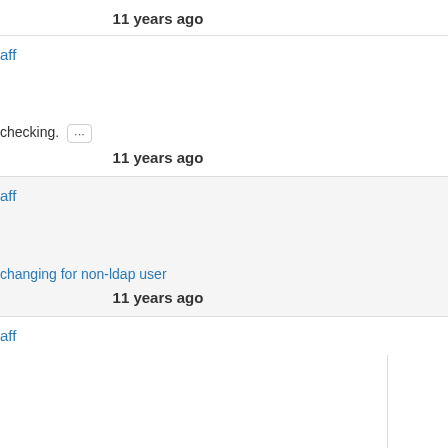11 years ago
aff
checking. ...
11 years ago
aff
changing for non-ldap user
11 years ago
aff